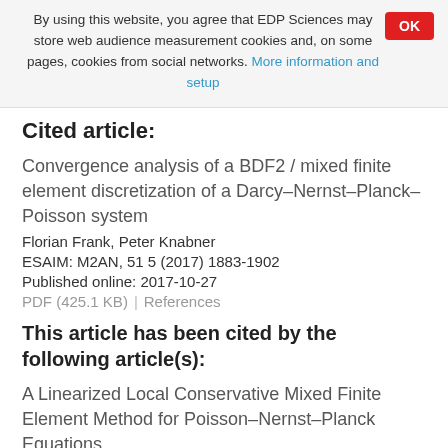By using this website, you agree that EDP Sciences may store web audience measurement cookies and, on some pages, cookies from social networks. More information and setup
Cited article:
Convergence analysis of a BDF2 / mixed finite element discretization of a Darcy–Nernst–Planck–Poisson system
Florian Frank, Peter Knabner
ESAIM: M2AN, 51 5 (2017) 1883-1902
Published online: 2017-10-27
PDF (425.1 KB)  |  References
This article has been cited by the following article(s):
A Linearized Local Conservative Mixed Finite Element Method for Poisson–Nernst–Planck Equations
Huadong Gao and Pengtao Sun